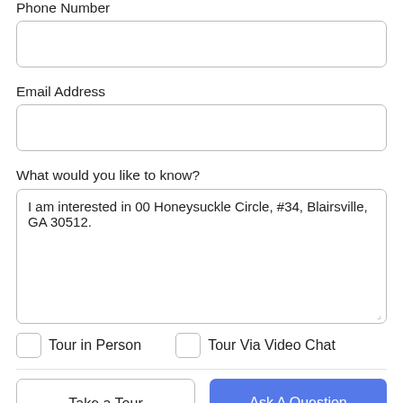Phone Number
(input field)
Email Address
(input field)
What would you like to know?
I am interested in 00 Honeysuckle Circle, #34, Blairsville, GA 30512.
Tour in Person
Tour Via Video Chat
Take a Tour
Ask A Question